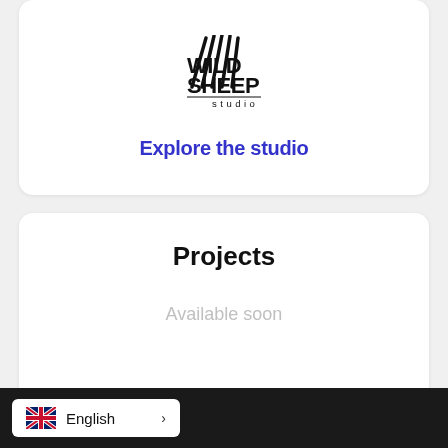[Figure (logo): Wild Sheep Studio logo — stylized claw-mark stripes with 'WILD SHEEP studio' text]
Explore the studio
Projects
Available soon
English >